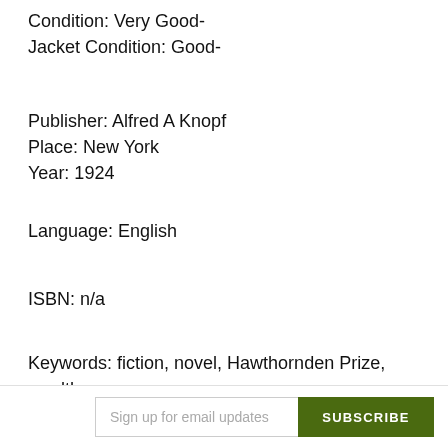Condition: Very Good-
Jacket Condition: Good-
Publisher: Alfred A Knopf
Place: New York
Year: 1924
Language: English
ISBN: n/a
Keywords: fiction, novel, Hawthornden Prize, wealth, Europe, world wars,